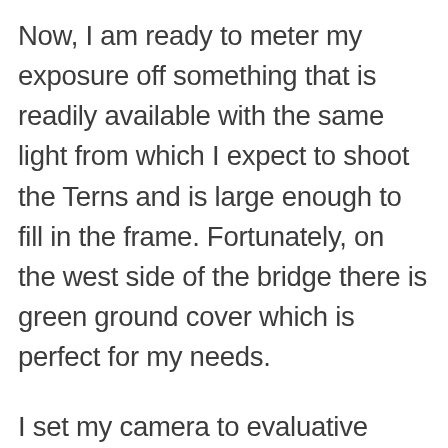Now, I am ready to meter my exposure off something that is readily available with the same light from which I expect to shoot the Terns and is large enough to fill in the frame. Fortunately, on the west side of the bridge there is green ground cover which is perfect for my needs.
I set my camera to evaluative metering for this gives me the most reliable results for metering.  (Spot metering is